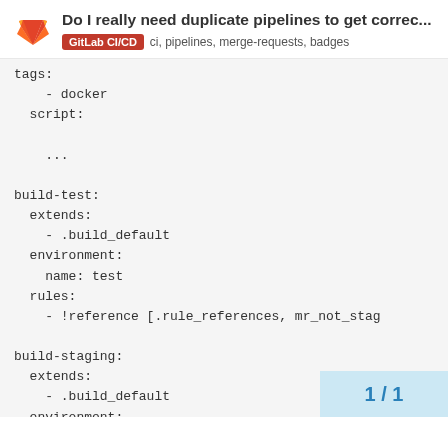Do I really need duplicate pipelines to get correc... | GitLab CI/CD  ci, pipelines, merge-requests, badges
tags:
    - docker
  script:

    ...

build-test:
  extends:
    - .build_default
  environment:
    name: test
  rules:
    - !reference [.rule_references, mr_not_stag

build-staging:
  extends:
    - .build_default
  environment:
    name: staging
  rules:
1 / 1